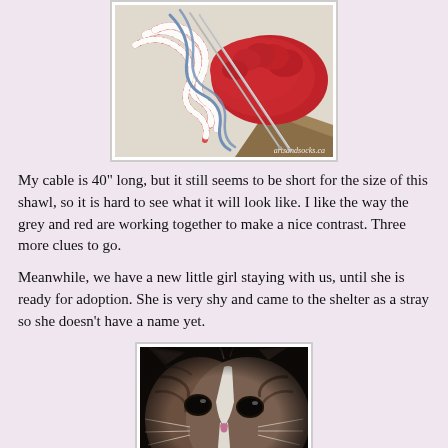[Figure (photo): A partially knitted shawl in red and grey/blue yarn on circular needles, laid on a white surface. Watermark reads artsandsocks.ca]
My cable is 40" long, but it still seems to be short for the size of this shawl, so it is hard to see what it will look like. I like the way the grey and red are working together to make a nice contrast. Three more clues to go.
Meanwhile, we have a new little girl staying with us, until she is ready for adoption. She is very shy and came to the shelter as a stray so she doesn't have a name yet.
[Figure (photo): Close-up photo of a tabby and white cat's face, looking at the camera with dark eyes. The cat has brown/grey striped fur with a white blaze on its nose.]